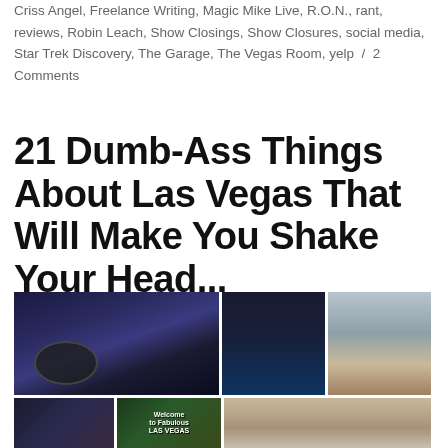Criss Angel, Freelance Writing, Magic Mike Live, R.O.N., rant, reviews, Robin Leach, Show Closings, Show Closures, social media, Star Trek Discovery, The Garage, The Vegas Room, yelp / 2 Comments
21 Dumb-Ass Things About Las Vegas That Will Make You Shake Your Head...
[Figure (photo): Grid of photos: aerial night shot of Las Vegas Strip, person in dark interior, construction cranes, small venue photo, Welcome to Las Vegas sign, hotel building exterior]